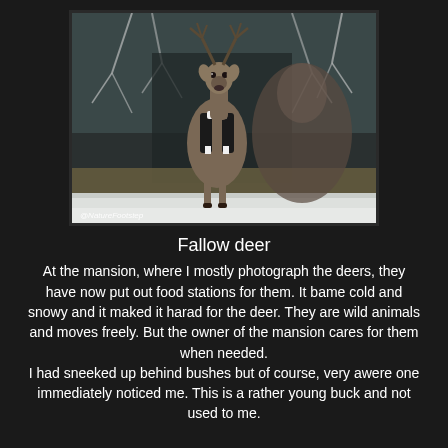[Figure (photo): Photograph of fallow deer in a wintry woodland scene. A young buck stands facing the camera with antlers visible, and another deer is partially visible beside/behind it. Bare trees and snow are in the background. Watermark reads @NatureFootstep.]
Fallow deer
At the mansion, where I mostly photograph the deers, they have now put out food stations for them. It bame cold and snowy and it maked it harad for the deer. They are wild animals and moves freely. But the owner of the mansion cares for them when needed.
I had sneeked up behind bushes but of course, very awere one immediately noticed me. This is a rather young buck and not used to me.